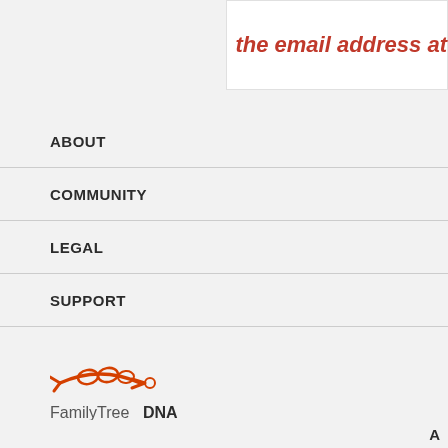the email address at
ABOUT
COMMUNITY
LEGAL
SUPPORT
[Figure (logo): FamilyTreeDNA logo with orange DNA helix icon and text FamilyTreeDNA]
A